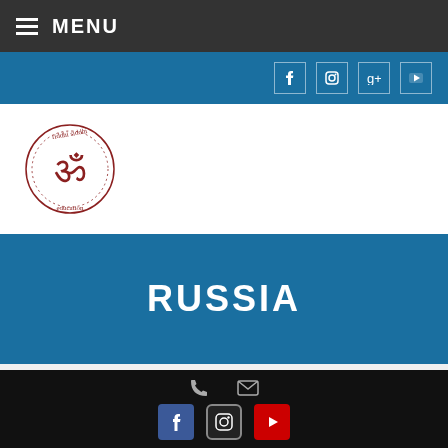MENU
[Figure (logo): Riddhi Siddhi Education logo with Om symbol in circular design with text]
RUSSIA
| Population | 14.45 Crore (approx.) |
| Capital | Moscow |
Phone, mail, Facebook, Instagram, YouTube icons